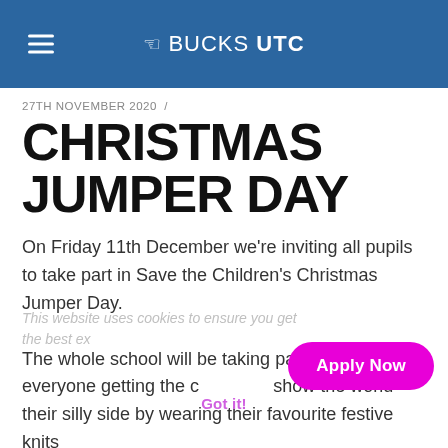BUCKS UTC
27TH NOVEMBER 2020 /
CHRISTMAS JUMPER DAY
On Friday 11th December we're inviting all pupils to take part in Save the Children's Christmas Jumper Day. The whole school will be taking part, with everyone getting the chance to show the world their silly side by wearing their favourite festive knits